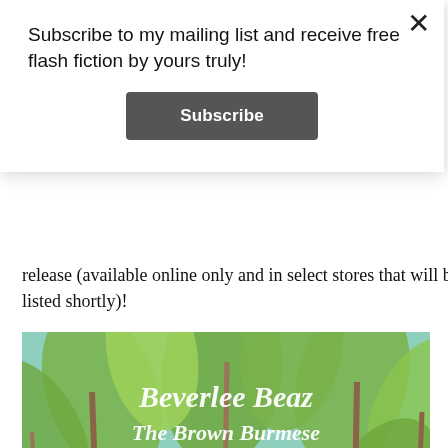Subscribe to my mailing list and receive free flash fiction by yours truly!
Subscribe
release (available online only and in select stores that will be listed shortly)!
[Figure (illustration): Book cover illustration for 'Beverlee Beaz The Brown Burmese' showing a brown Burmese cat surrounded by tropical leaves and white/orange calla lily flowers against a teal background, with decorative script lettering.]